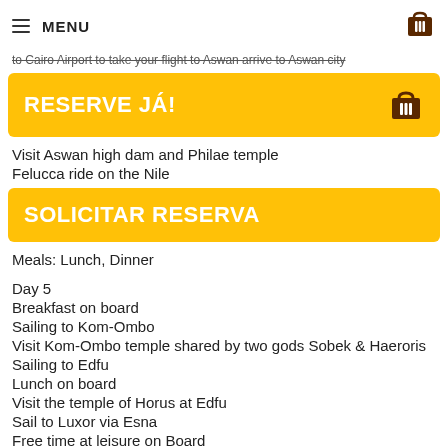MENU
to Cairo Airport to take your flight to Aswan arrive to Aswan city
RESERVE JÁ!
Visit Aswan high dam and Philae temple
Felucca ride on the Nile
SOLICITAR RESERVA
Meals: Lunch, Dinner
Day 5
Breakfast on board
Sailing to Kom-Ombo
Visit Kom-Ombo temple shared by two gods Sobek & Haeroris
Sailing to Edfu
Lunch on board
Visit the temple of Horus at Edfu
Sail to Luxor via Esna
Free time at leisure on Board
Afternoon tea on sun deck
Cross Esna lock
Dinner on board